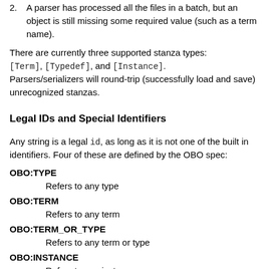2. A parser has processed all the files in a batch, but an object is still missing some required value (such as a term name).
There are currently three supported stanza types: [Term], [Typedef], and [Instance]. Parsers/serializers will round-trip (successfully load and save) unrecognized stanzas.
Legal IDs and Special Identifiers
Any string is a legal id, as long as it is not one of the built in identifiers. Four of these are defined by the OBO spec:
OBO:TYPE
    Refers to any type
OBO:TERM
    Refers to any term
OBO:TERM_OR_TYPE
    Refers to any term or type
OBO:INSTANCE
    Refers to any instance
There are more identifiers specified by XML...